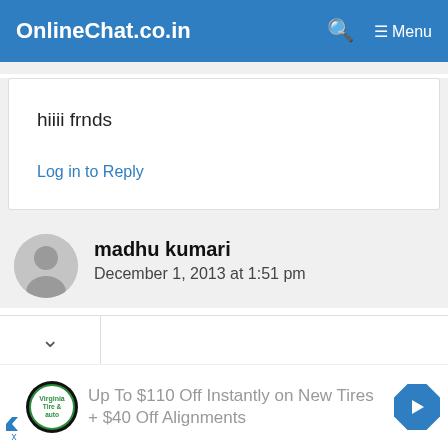OnlineChat.co.in  🔍  ≡ Menu
hiiii frnds
Log in to Reply
madhu kumari
December 1, 2013 at 1:51 pm
[Figure (other): Advertisement banner: tire company logo, text 'Up To $110 Off Instantly on New Tires + $40 Off Alignments', blue diamond arrow icon]